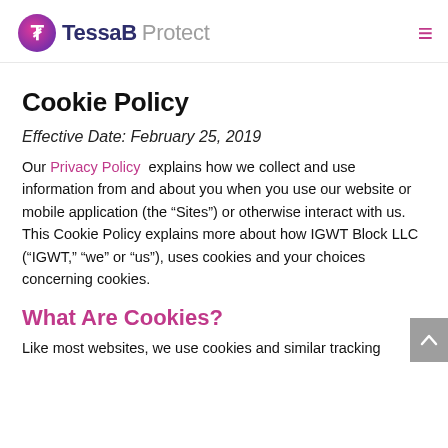TessaB Protect
Cookie Policy
Effective Date: February 25, 2019
Our Privacy Policy  explains how we collect and use information from and about you when you use our website or mobile application (the “Sites”) or otherwise interact with us. This Cookie Policy explains more about how IGWT Block LLC (“IGWT,” “we” or “us”), uses cookies and your choices concerning cookies.
What Are Cookies?
Like most websites, we use cookies and similar tracking